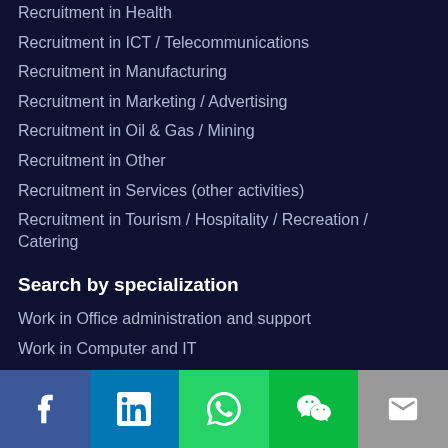Recruitment in Health
Recruitment in ICT / Telecommunications
Recruitment in Manufacturing
Recruitment in Marketing / Advertising
Recruitment in Oil & Gas / Mining
Recruitment in Other
Recruitment in Services (other activities)
Recruitment in Tourism / Hospitality / Recreation / Catering
Search by specialization
Work in Office administration and support
Work in Computer and IT
Work in Human Resources
Social share bar: Facebook, LinkedIn, WhatsApp, WeChat, Email